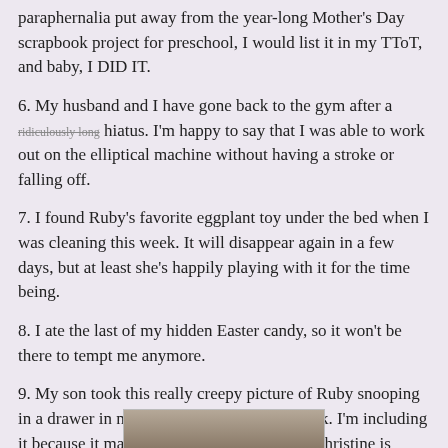paraphernalia put away from the year-long Mother's Day scrapbook project for preschool, I would list it in my TToT, and baby, I DID IT.
6. My husband and I have gone back to the gym after a ridiculously long hiatus. I'm happy to say that I was able to work out on the elliptical machine without having a stroke or falling off.
7. I found Ruby's favorite eggplant toy under the bed when I was cleaning this week. It will disappear again in a few days, but at least she's happily playing with it for the time being.
8. I ate the last of my hidden Easter candy, so it won't be there to tempt me anymore.
9. My son took this really creepy picture of Ruby snooping in a drawer in my daughter's room in the dark. I'm including it because it makes me laugh. And because Christine is completely creeped out by it.
[Figure (photo): A partially visible photo thumbnail at the bottom of the page, showing a dimly lit scene.]